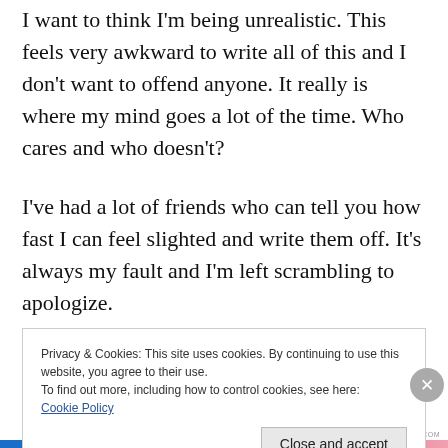I want to think I'm being unrealistic. This feels very awkward to write all of this and I don't want to offend anyone. It really is where my mind goes a lot of the time. Who cares and who doesn't?
I've had a lot of friends who can tell you how fast I can feel slighted and write them off. It's always my fault and I'm left scrambling to apologize.
Privacy & Cookies: This site uses cookies. By continuing to use this website, you agree to their use.
To find out more, including how to control cookies, see here: Cookie Policy